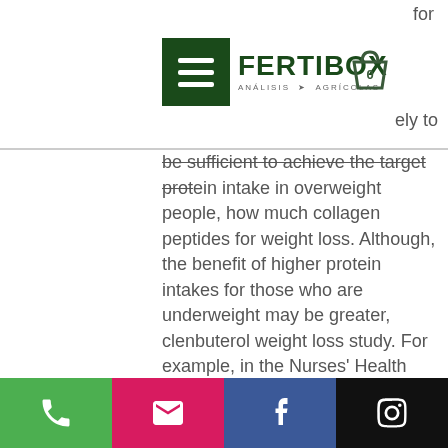Fertibox - Análisis Agrícolas (logo and navigation header)
for be sufficient to achieve the target protein intake in overweight people, how much collagen peptides for weight loss. Although, the benefit of higher protein intakes for those who are underweight may be greater, clenbuterol weight loss study. For example, in the Nurses' Health Study, where participants with BMI below 25 kg/m 2 and lean mass below 22 kg were randomized to 1.0 or 1.2 g.kg −1 of proteins intake, mean increases in lean mass of 9.9 kg and 30.7 kg, respectively, was observed when the dietary protein intake was 1.2 vs. 1.0 g.kg −1 (N = 24). However, the effect of higher protein intakes (1, clenbuterol weight loss female.2 g, clenbuterol weight loss female.kg −1) on lean mass in overweight and
Phone | Email | Facebook | Instagram